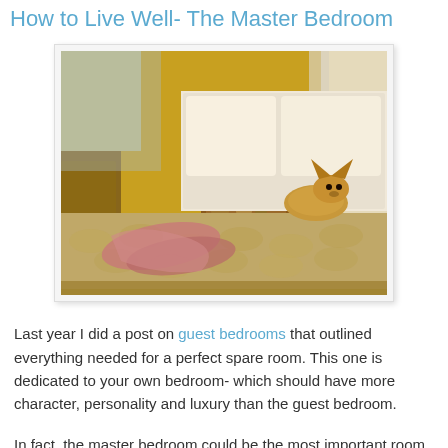How to Live Well- The Master Bedroom
[Figure (photo): A master bedroom with yellow walls, a large bed with a golden/beige textured bedspread, a small dog lying on the bed near the headboard, a lamp on a wooden nightstand, white curtains, and a pink cloth draped at the foot of the bed.]
Last year I did a post on guest bedrooms that outlined everything needed for a perfect spare room. This one is dedicated to your own bedroom- which should have more character, personality and luxury than the guest bedroom.
In fact, the master bedroom could be the most important room in your house. It is the room you spend the most time